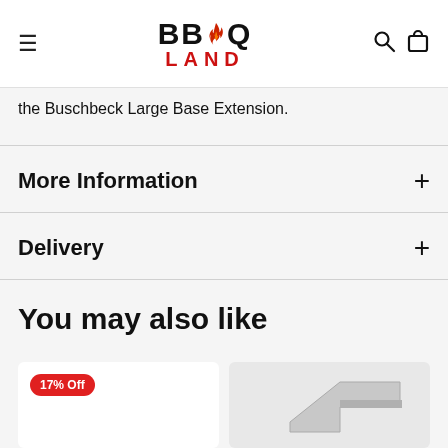BBQ LAND
the Buschbeck Large Base Extension.
More Information
Delivery
You may also like
[Figure (photo): Product card with 17% Off badge]
[Figure (photo): Product card showing a metal BBQ accessory]